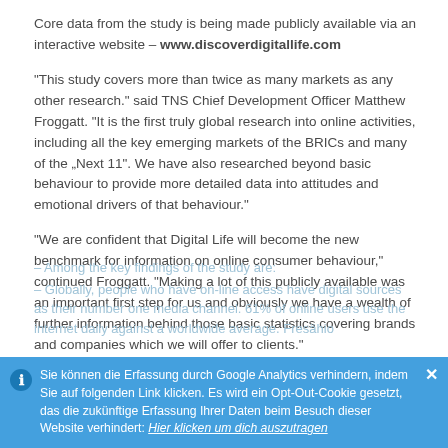Core data from the study is being made publicly available via an interactive website – www.discoverdigitallife.com
“This study covers more than twice as many markets as any other research.” said TNS Chief Development Officer Matthew Froggatt. “It is the first truly global research into online activities, including all the key emerging markets of the BRICs and many of the „Next 11“. We have also researched beyond basic behaviour to provide more detailed data into attitudes and emotional drivers of that behaviour.”
“We are confident that Digital Life will become the new benchmark for information on online consumer behaviour,” continued Froggatt. “Making a lot of this publicly available was an important first step for us and obviously we have a wealth of further information behind those basic statistics covering brands and companies which we will offer to clients.”
– Among the key findings of the study are:
– Globally, people who have on-line access have digital sources as their number one media channel. 61% of online users use the internet daily against a worldwide average. Fresähio
Sie können die Erfassung durch Google Analytics verhindern, indem Sie auf folgenden Link klicken. Es wird ein Opt-Out-Cookie gesetzt, das die zukünftige Erfassung Ihrer Daten beim Besuch dieser Website verhindert: Hier klicken um dich auszutragen